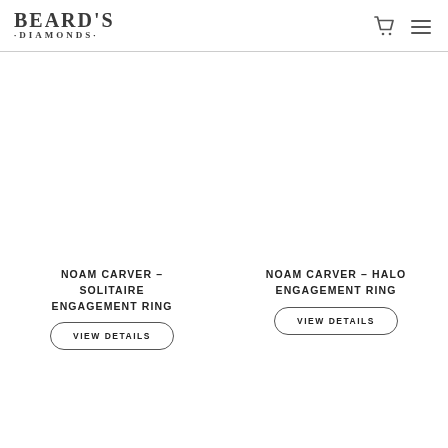BEARD'S DIAMONDS
[Figure (photo): Product image placeholder for Noam Carver Solitaire Engagement Ring (white/blank area)]
NOAM CARVER – SOLITAIRE ENGAGEMENT RING
VIEW DETAILS
[Figure (photo): Product image placeholder for Noam Carver Halo Engagement Ring (white/blank area)]
NOAM CARVER – HALO ENGAGEMENT RING
VIEW DETAILS